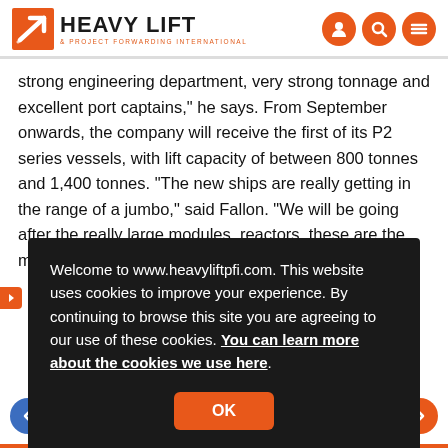Heavy Lift & Project Forwarding International
strong engineering department, very strong tonnage and excellent port captains," he says. From September onwards, the company will receive the first of its P2 series vessels, with lift capacity of between 800 tonnes and 1,400 tonnes. "The new ships are really getting in the range of a jumbo," said Fallon. "We will be going after the really large modules, reactors, these are the market we are looking at here in Brazil," he said.
Welcome to www.heavyliftpfi.com. This website uses cookies to improve your experience. By continuing to browse this site you are agreeing to our use of these cookies. You can learn more about the cookies we use here.